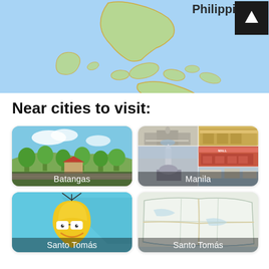[Figure (map): Map of the Philippines showing islands in green on blue water background, with 'Philippin' text visible and a dark up-arrow button in top right corner]
Near cities to visit:
[Figure (photo): Batangas city photo showing green trees and buildings with red roofs under blue sky]
[Figure (photo): Manila collage of 4 photos: government building, colonial building, Rizal Monument obelisk, shopping mall facade, and waterfront colonial building]
[Figure (illustration): Santo Tomas app icon: yellow smiling map pin mascot with glasses on light blue background]
[Figure (map): Santo Tomas map showing regional boundaries and roads on light background]